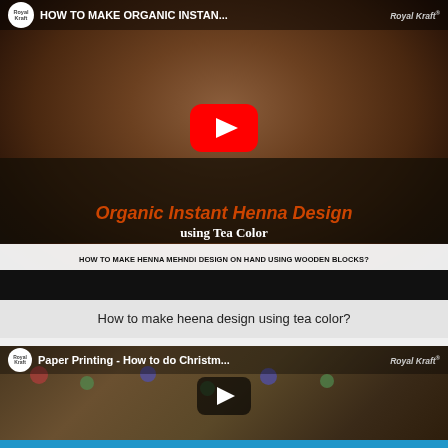[Figure (screenshot): YouTube video thumbnail showing henna-decorated hands with title 'Organic Instant Henna Design using Tea Color' and subtitle 'HOW TO MAKE HENNA MEHNDI DESIGN ON HAND USING WOODEN BLOCKS?' with a YouTube play button overlay. Channel name Royal Kraft visible.]
How to make heena design using tea color?
[Figure (screenshot): YouTube video thumbnail showing 'Paper Printing - How to do Christm...' with wooden block stamps and colorful snowflake prints on paper. Royal Kraft channel. Has a 'Leave a message' chat bar at bottom.]